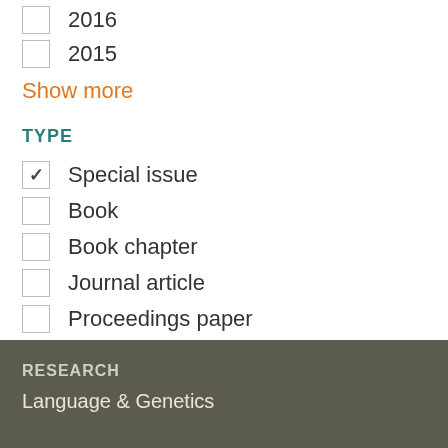2016
2015
Show more
TYPE
Special issue
Book
Book chapter
Journal article
Proceedings paper
Thesis
RESEARCH
Language & Genetics